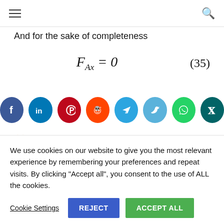≡  [search icon]
And for the sake of completeness
[Figure (infographic): Row of 8 social sharing icons: Facebook (dark blue), LinkedIn (blue), Pinterest (red), Reddit (orange), Telegram (teal), Twitter (light blue), WhatsApp (green), Xing (dark teal)]
Engineering Mechanics II, Exercises
Bending line, Line load, Statically
We use cookies on our website to give you the most relevant experience by remembering your preferences and repeat visits. By clicking "Accept all", you consent to the use of ALL the cookies.
Cookie Settings   REJECT   ACCEPT ALL